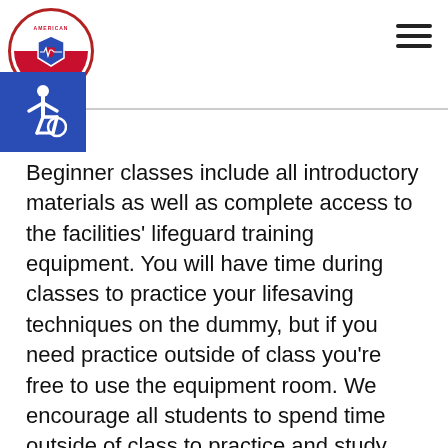[Figure (logo): American Lifeguard Training circular logo with red and white design, accessibility icon in blue square below]
Beginner classes include all introductory materials as well as complete access to the facilities' lifeguard training equipment. You will have time during classes to practice your lifesaving techniques on the dummy, but if you need practice outside of class you're free to use the equipment room. We encourage all students to spend time outside of class to practice and study the content they've learned. That's why all classes also include a free anytime-access pass to the pools; you can practice your endurance and stamina swimming whenever the facilities are open.
Intermediate classes include the same equipment as the beginner class, plus we include more intense training equipment. In intermediate, you will be expected to tread water while…